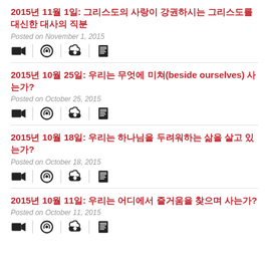2015년 11월 1일: 그리스도의 사랑이 강권하시는 그리스도를 대신한 대사의 직분
Posted on November 1, 2015
[Figure (infographic): Four media icons: video camera, audio/headphone, download cloud, and book/notes]
2015년 10월 25일: 우리는 무엇에 미쳐(beside ourselves) 사는가?
Posted on October 25, 2015
[Figure (infographic): Four media icons: video camera, audio/headphone, download cloud, and book/notes]
2015년 10월 18일: 우리는 하나님을 두려워하는 삶을 살고 있는가?
Posted on October 18, 2015
[Figure (infographic): Four media icons: video camera, audio/headphone, download cloud, and book/notes]
2015년 10월 11일: 우리는 어디에서 즐거움을 찾으며 사는가?
Posted on October 11, 2015
[Figure (infographic): Four media icons: video camera, audio/headphone, download cloud, and book/notes]